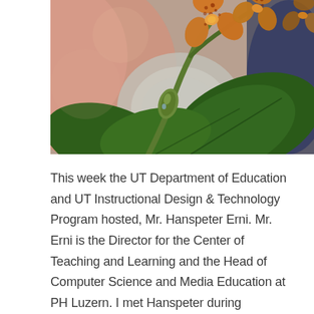[Figure (photo): Close-up photograph of an orchid plant with yellow-orange spotted flowers and green leaves and bud, with a blurred background showing a grey round object and dark blue element]
This week the UT Department of Education and UT Instructional Design & Technology Program hosted, Mr. Hanspeter Erni. Mr. Erni is the Director for the Center of Teaching and Learning and the Head of Computer Science and Media Education at PH Luzern. I met Hanspeter during